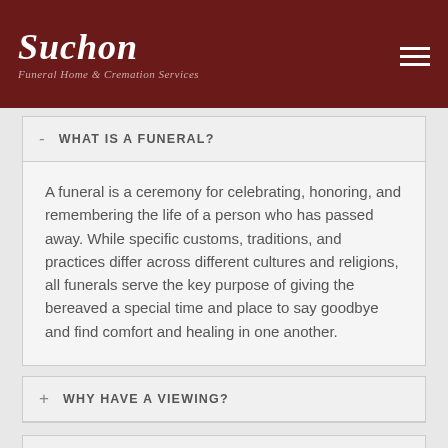Suchon Funeral Home & Cremation Services
- WHAT IS A FUNERAL?
A funeral is a ceremony for celebrating, honoring, and remembering the life of a person who has passed away. While specific customs, traditions, and practices differ across different cultures and religions, all funerals serve the key purpose of giving the bereaved a special time and place to say goodbye and find comfort and healing in one another.
+ WHY HAVE A VIEWING?
+ WHAT IS THE PURPOSE OF EMBALMING?